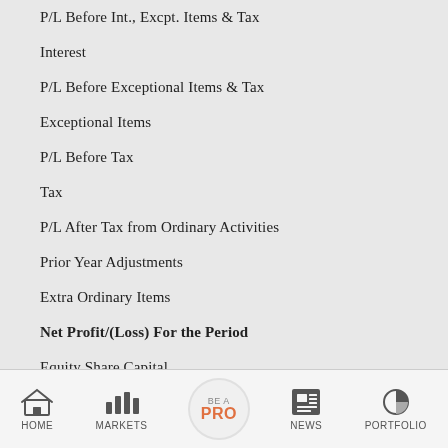P/L Before Int., Excpt. Items & Tax
Interest
P/L Before Exceptional Items & Tax
Exceptional Items
P/L Before Tax
Tax
P/L After Tax from Ordinary Activities
Prior Year Adjustments
Extra Ordinary Items
Net Profit/(Loss) For the Period
Equity Share Capital
Reserves Excluding Revaluation Reserves
Equity Dividend Rate (%)
HOME | MARKETS | BE A PRO | NEWS | PORTFOLIO